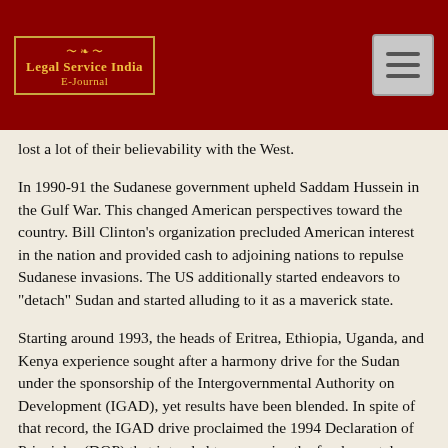Legal Service India E-Journal
lost a lot of their believability with the West.
In 1990-91 the Sudanese government upheld Saddam Hussein in the Gulf War. This changed American perspectives toward the country. Bill Clinton's organization precluded American interest in the nation and provided cash to adjoining nations to repulse Sudanese invasions. The US additionally started endeavors to "detach" Sudan and started alluding to it as a maverick state.
Starting around 1993, the heads of Eritrea, Ethiopia, Uganda, and Kenya experience sought after a harmony drive for the Sudan under the sponsorship of the Intergovernmental Authority on Development (IGAD), yet results have been blended. In spite of that record, the IGAD drive proclaimed the 1994 Declaration of Principles (DOP) that intended to recognize the fundamental components important to an equitable and exhaustive harmony settlement; i.e., the connection among religion and the